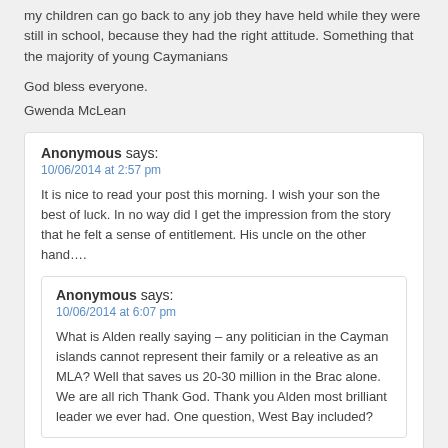my children can go back to any job they have held while they were still in school, because they had the right attitude. Something that the majority of young Caymanians
God bless everyone.
Gwenda McLean
Anonymous says:
10/06/2014 at 2:57 pm
It is nice to read your post this morning. I wish your son the best of luck. In no way did I get the impression from the story that he felt a sense of entitlement. His uncle on the other hand….
Anonymous says:
10/06/2014 at 6:07 pm
What is Alden really saying – any politician in the Cayman islands cannot represent their family or a releative as an MLA? Well that saves us 20-30 million in the Brac alone. We are all rich Thank God. Thank you Alden most brilliant leader we ever had. One question, West Bay included?